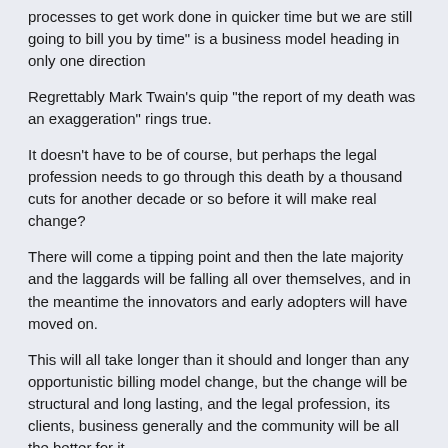processes to get work done in quicker time but we are still going to bill you by time" is a business model heading in only one direction
Regrettably Mark Twain's quip "the report of my death was an exaggeration" rings true.
It doesn't have to be of course, but perhaps the legal profession needs to go through this death by a thousand cuts for another decade or so before it will make real change?
There will come a tipping point and then the late majority and the laggards will be falling all over themselves, and in the meantime the innovators and early adopters will have moved on.
This will all take longer than it should and longer than any opportunistic billing model change, but the change will be structural and long lasting, and the legal profession, its clients, business generally and the community will be all the better for it.